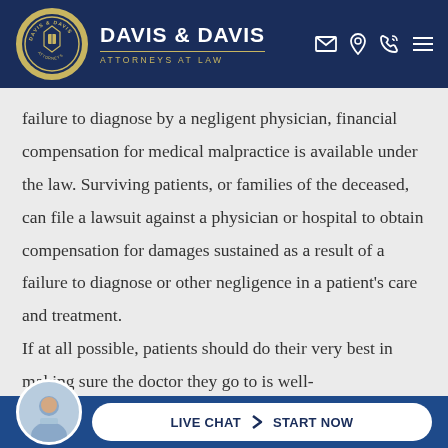DAVIS & DAVIS ATTORNEYS AT LAW
failure to diagnose by a negligent physician, financial compensation for medical malpractice is available under the law. Surviving patients, or families of the deceased, can file a lawsuit against a physician or hospital to obtain compensation for damages sustained as a result of a failure to diagnose or other negligence in a patient's care and treatment. If at all possible, patients should do their very best in making sure the doctor they go to is well-
LIVE CHAT START NOW